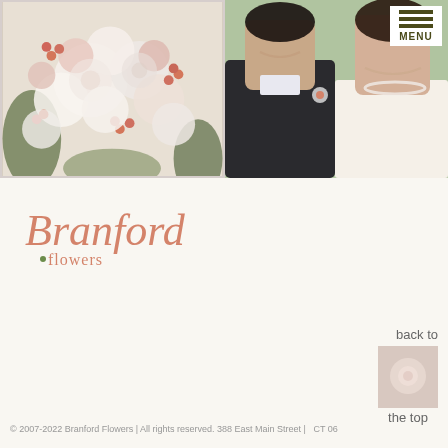[Figure (photo): Close-up photo of a bridal bouquet with white roses, blush roses, and coral berry accents on a cream background]
[Figure (photo): Wedding couple photo: groom in dark suit with boutonniere and bride in lace dress with pearl necklace, both smiling; MENU button in top right corner]
[Figure (logo): Branford Flowers logo in coral/rose script and serif font]
back to
[Figure (photo): Small thumbnail image of a flower, used as a back-to-top button]
the top
© 2007-2022 Branford Flowers | All rights reserved. 388 East Main Street | CT 06...